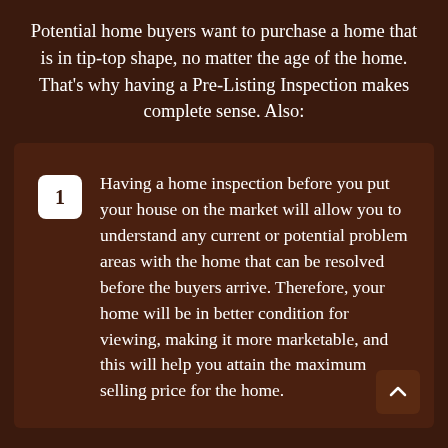Potential home buyers want to purchase a home that is in tip-top shape, no matter the age of the home. That's why having a Pre-Listing Inspection makes complete sense. Also:
Having a home inspection before you put your house on the market will allow you to understand any current or potential problem areas with the home that can be resolved before the buyers arrive. Therefore, your home will be in better condition for viewing, making it more marketable, and this will help you attain the maximum selling price for the home.